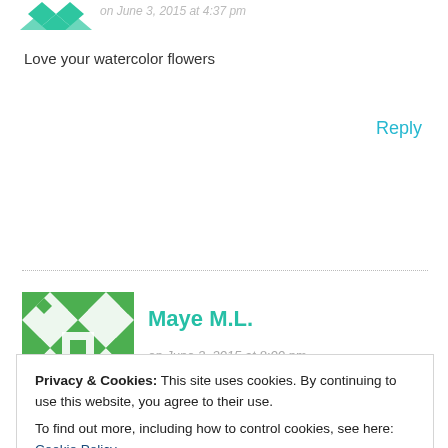[Figure (illustration): Green geometric avatar icon at top left, partially cropped]
on June 3, 2015 at 4:37 pm
Love your watercolor flowers
Reply
[Figure (illustration): Green geometric/diamond pattern avatar for Maye M.L.]
Maye M.L.
on June 3, 2015 at 8:00 pm
Absolutely wonderful watercolor card. Love the sentiment message on...
Privacy & Cookies: This site uses cookies. By continuing to use this website, you agree to their use.
To find out more, including how to control cookies, see here: Cookie Policy
Close and accept